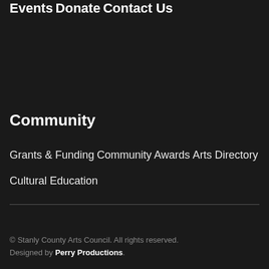Events
Donate
Contact Us
Community
Grants & Funding
Community Awards
Arts Directory
Cultural Education
© Stanly County Arts Council. All rights reserved. Designed by Perry Productions.